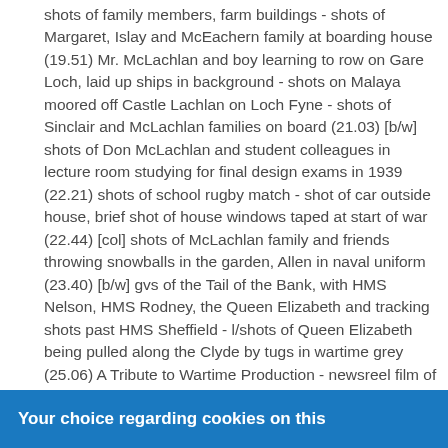shots of family members, farm buildings - shots of Margaret, Islay and McEachern family at boarding house (19.51) Mr. McLachlan and boy learning to row on Gare Loch, laid up ships in background - shots on Malaya moored off Castle Lachlan on Loch Fyne - shots of Sinclair and McLachlan families on board (21.03) [b/w] shots of Don McLachlan and student colleagues in lecture room studying for final design exams in 1939 (22.21) shots of school rugby match - shot of car outside house, brief shot of house windows taped at start of war (22.44) [col] shots of McLachlan family and friends throwing snowballs in the garden, Allen in naval uniform (23.40) [b/w] gvs of the Tail of the Bank, with HMS Nelson, HMS Rodney, the Queen Elizabeth and tracking shots past HMS Sheffield - l/shots of Queen Elizabeth being pulled along the Clyde by tugs in wartime grey (25.06) A Tribute to Wartime Production - newsreel film of King George VI and the Queen visiting Templeton's factory in Glasgow - black
Your choice regarding cookies on this